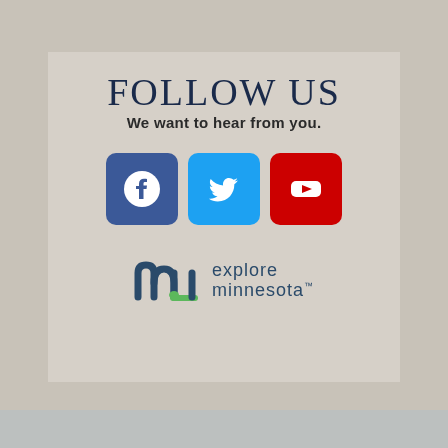FOLLOW US
We want to hear from you.
[Figure (illustration): Three social media icons side by side: Facebook (blue rounded square with white 'f' logo), Twitter (light blue rounded square with white bird logo), YouTube (red rounded square with white play button)]
[Figure (logo): Explore Minnesota logo: stylized 'mn' letters in dark blue and green, followed by 'explore Minnesota' text in dark blue]